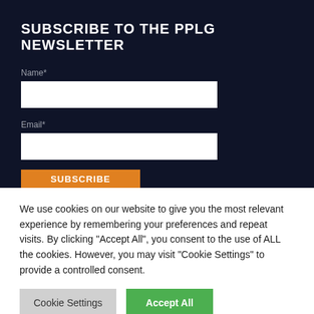SUBSCRIBE TO THE PPLG NEWSLETTER
Name*
Email*
SUBSCRIBE
We use cookies on our website to give you the most relevant experience by remembering your preferences and repeat visits. By clicking “Accept All”, you consent to the use of ALL the cookies. However, you may visit "Cookie Settings" to provide a controlled consent.
Cookie Settings
Accept All